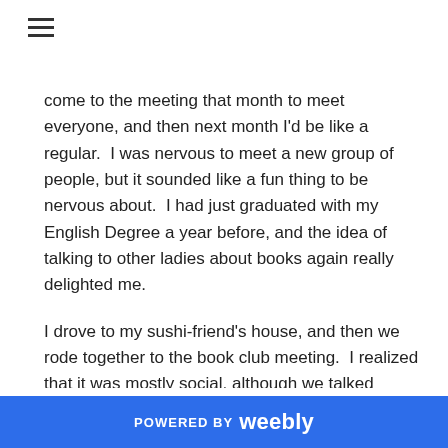come to the meeting that month to meet everyone, and then next month I'd be like a regular.  I was nervous to meet a new group of people, but it sounded like a fun thing to be nervous about.  I had just graduated with my English Degree a year before, and the idea of talking to other ladies about books again really delighted me.
I drove to my sushi-friend's house, and then we rode together to the book club meeting.  I realized that it was mostly social, although we talked about the book, and there was drinking involved.  The club had a rule that they would potluck bring food associated to a theme picked from the book.  I don't remember the book, but Spanish/Mexican food was the food theme.  That was the first time I
POWERED BY weebly